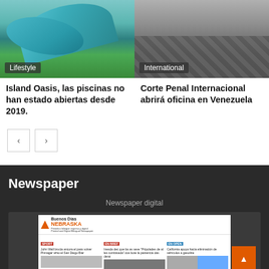[Figure (photo): Aerial view of water park with blue water slides, green grass, outdoor pool area. Category badge 'Lifestyle' at bottom left.]
[Figure (photo): Black and white photo of rocky coastline/seashore. Category badge 'International' at bottom left.]
Island Oasis, las piscinas no han estado abiertas desde 2019.
Corte Penal Internacional abrirá oficina en Venezuela
< >
Newspaper
Newspaper digital
[Figure (screenshot): Preview of Buenos Dias Nebraska digital newspaper front page with multiple news columns and images.]